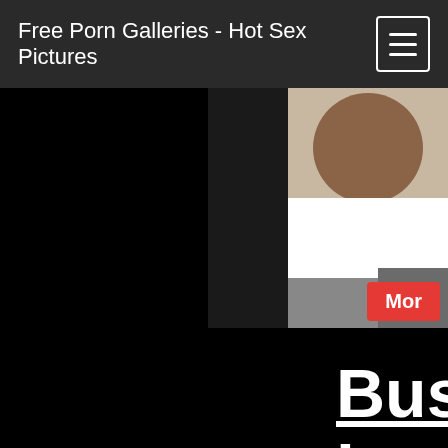Free Porn Galleries - Hot Sex Pictures
[Figure (photo): Partial thumbnail image visible in top-right corner showing a person in a white shirt against a light background]
Mor
Busty in stoc and h Jasm Rouge her